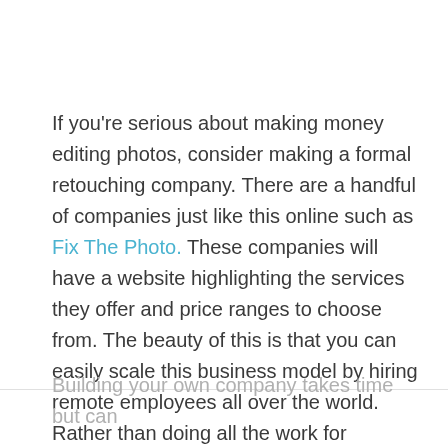If you're serious about making money editing photos, consider making a formal retouching company. There are a handful of companies just like this online such as Fix The Photo. These companies will have a website highlighting the services they offer and price ranges to choose from. The beauty of this is that you can easily scale this business model by hiring remote employees all over the world. Rather than doing all the work for yourself, you can take on more jobs with the help of others.
Building your own company takes time but can